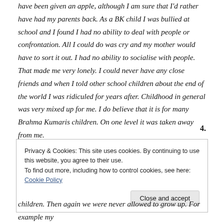have been given an apple, although I am sure that I'd rather have had my parents back. As a BK child I was bullied at school and I found I had no ability to deal with people or confrontation. All I could do was cry and my mother would have to sort it out. I had no ability to socialise with people. That made me very lonely. I could never have any close friends and when I told other school children about the end of the world I was ridiculed for years after. Childhood in general was very mixed up for me. I do believe that it is for many Brahma Kumaris children. On one level it was taken away from me.
4.
Privacy & Cookies: This site uses cookies. By continuing to use this website, you agree to their use.
To find out more, including how to control cookies, see here: Cookie Policy
Close and accept
children. Then again we were never allowed to grow up. For example my